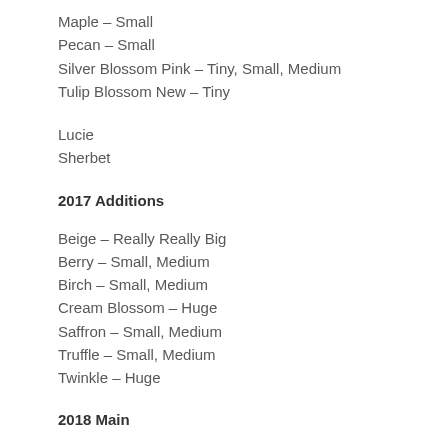Maple – Small
Pecan – Small
Silver Blossom Pink – Tiny, Small, Medium
Tulip Blossom New – Tiny
Lucie
Sherbet
2017 Additions
Beige – Really Really Big
Berry – Small, Medium
Birch – Small, Medium
Cream Blossom – Huge
Saffron – Small, Medium
Truffle – Small, Medium
Twinkle – Huge
2018 Main